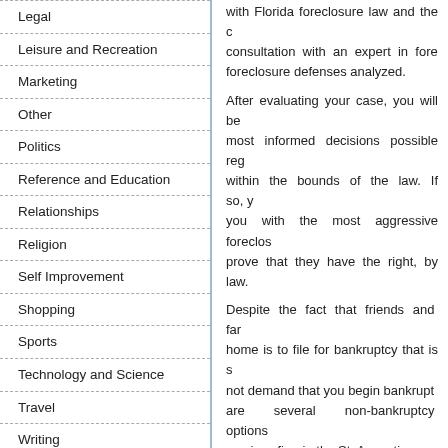Legal
Leisure and Recreation
Marketing
Other
Politics
Reference and Education
Relationships
Religion
Self Improvement
Shopping
Sports
Technology and Science
Travel
Writing
with Florida foreclosure law and the consultation with an expert in foreclosure defenses analyzed.
After evaluating your case, you will be most informed decisions possible regarding within the bounds of the law. If so, you with the most aggressive foreclosure prove that they have the right, by law.
Despite the fact that friends and family home is to file for bankruptcy that is not demand that you begin bankruptcy are several non-bankruptcy options services firm in the St. Augustine area your family and friends, and let them
Others
Printer Friendly
Download as Word
Email to Friend
Bookmark